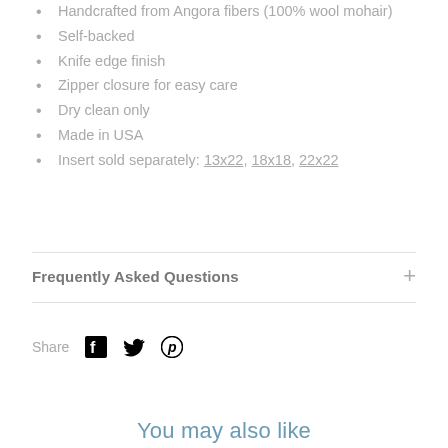Handcrafted from Angora fibers (100% wool mohair)
Self-backed
Knife edge finish
Zipper closure for easy care
Dry clean only
Made in USA
Insert sold separately: 13x22, 18x18, 22x22
Frequently Asked Questions
Share
You may also like